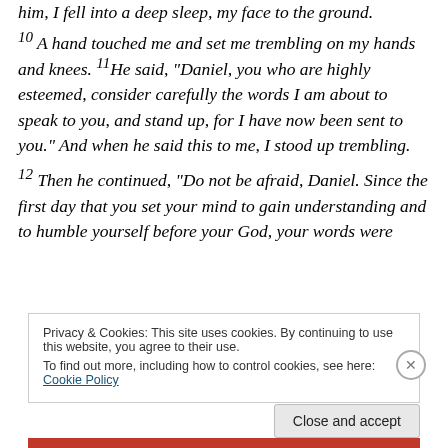him, I fell into a deep sleep, my face to the ground.
10 A hand touched me and set me trembling on my hands and knees. 11 He said, “Daniel, you who are highly esteemed, consider carefully the words I am about to speak to you, and stand up, for I have now been sent to you.” And when he said this to me, I stood up trembling.
12 Then he continued, “Do not be afraid, Daniel. Since the first day that you set your mind to gain understanding and to humble yourself before your God, your words were
Privacy & Cookies: This site uses cookies. By continuing to use this website, you agree to their use.
To find out more, including how to control cookies, see here: Cookie Policy